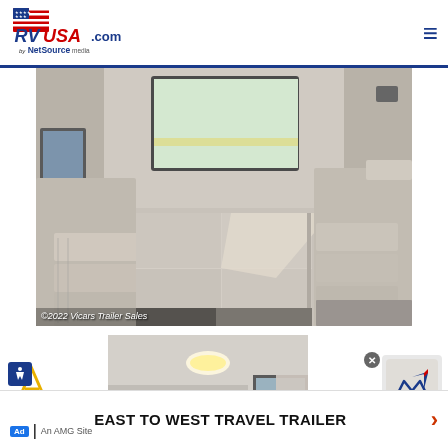RVUSA.com by NetSource media
[Figure (photo): Interior of RV showing dinette seating converted to flat bed/sleeping area with light gray upholstery, window in background showing outdoor parking lot. Photo credit: ©2022 Vicars Trailer Sales]
[Figure (photo): Partial view of RV interior showing ceiling, light fixture, window with curtain]
EAST TO WEST TRAVEL TRAILER
Ad | An AMG Site